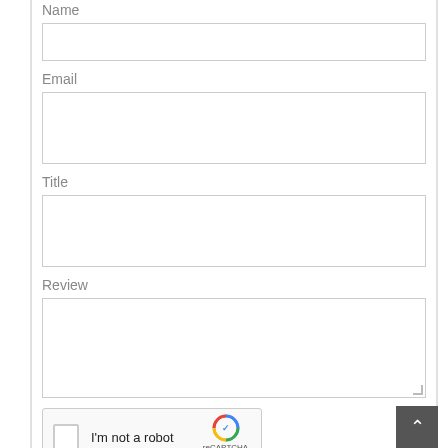Name
[Figure (screenshot): Empty text input field for Name]
Email
[Figure (screenshot): Empty text input field for Email]
Title
[Figure (screenshot): Empty text input field for Title]
Review
[Figure (screenshot): Empty textarea for Review with resize handle]
[Figure (screenshot): reCAPTCHA widget with checkbox labeled I'm not a robot and reCAPTCHA logo with Privacy and Terms links]